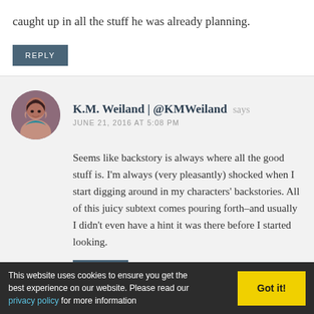caught up in all the stuff he was already planning.
REPLY
K.M. Weiland | @KMWeiland says
JUNE 21, 2016 AT 5:08 PM
Seems like backstory is always where all the good stuff is. I'm always (very pleasantly) shocked when I start digging around in my characters' backstories. All of this juicy subtext comes pouring forth–and usually I didn't even have a hint it was there before I started looking.
REPLY
This website uses cookies to ensure you get the best experience on our website. Please read our privacy policy for more information
Got it!